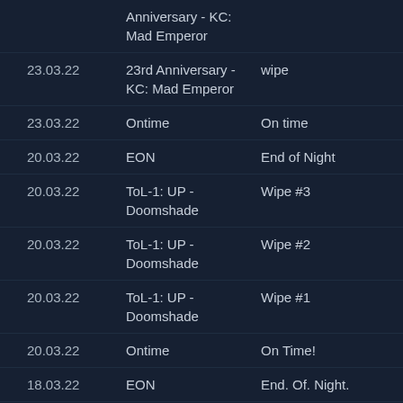| Date | Event | Result |
| --- | --- | --- |
|  | Anniversary - KC: Mad Emperor |  |
| 23.03.22 | 23rd Anniversary - KC: Mad Emperor | wipe |
| 23.03.22 | Ontime | On time |
| 20.03.22 | EON | End of Night |
| 20.03.22 | ToL-1: UP - Doomshade | Wipe #3 |
| 20.03.22 | ToL-1: UP - Doomshade | Wipe #2 |
| 20.03.22 | ToL-1: UP - Doomshade | Wipe #1 |
| 20.03.22 | Ontime | On Time! |
| 18.03.22 | EON | End. Of. Night. |